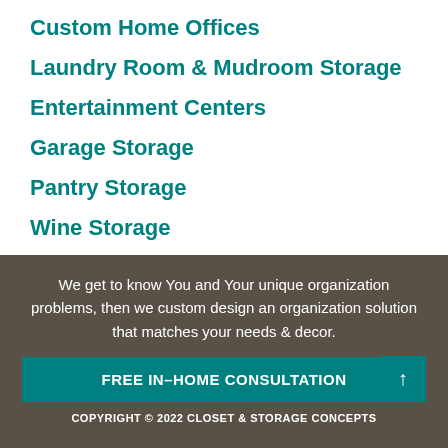Custom Home Offices
Laundry Room & Mudroom Storage
Entertainment Centers
Garage Storage
Pantry Storage
Wine Storage
Blog
We get to know You and Your unique organization problems, then we custom design an organization solution that matches your needs & decor.
FREE IN–HOME CONSULTATION
COPYRIGHT © 2022 CLOSET & STORAGE CONCEPTS